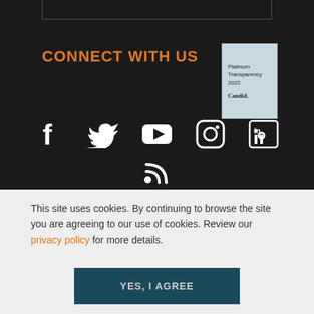CONNECT WITH US
[Figure (logo): Platinum Transparency 2022 Candid. badge]
[Figure (infographic): Social media icons: Facebook, Twitter, YouTube, Instagram, LinkedIn, RSS]
This site uses cookies. By continuing to browse the site you are agreeing to our use of cookies. Review our privacy policy for more details.
YES, I AGREE